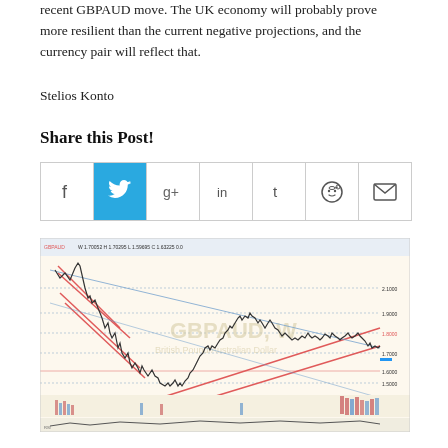recent GBPAUD move. The UK economy will probably prove more resilient than the current negative projections, and the currency pair will reflect that.
Stelios Konto
Share this Post!
[Figure (infographic): Social media share buttons row: Facebook, Twitter (highlighted in teal), Google+, LinkedIn, Tumblr, Reddit, Email]
[Figure (continuous-plot): GBPAUD Weekly candlestick chart showing price history with red trend lines forming descending wedge and ascending channel patterns. Watermark reads GBPAUD, W / British Pound/Australian Dollar. Volume bars shown at bottom.]